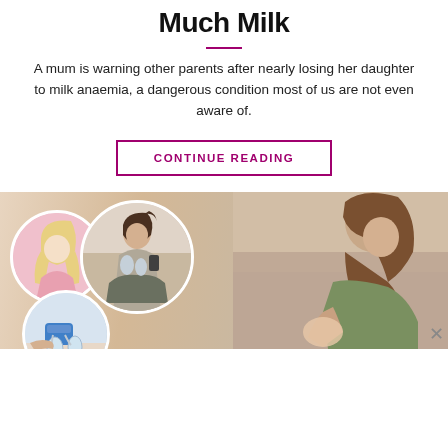Much Milk
A mum is warning other parents after nearly losing her daughter to milk anaemia, a dangerous condition most of us are not even aware of.
CONTINUE READING
[Figure (photo): Composite image showing a breastfeeding mother on the right, and three circular inset photos on the left showing: a blonde woman, a woman sitting cross-legged using a breast pump, and a breast pump device.]